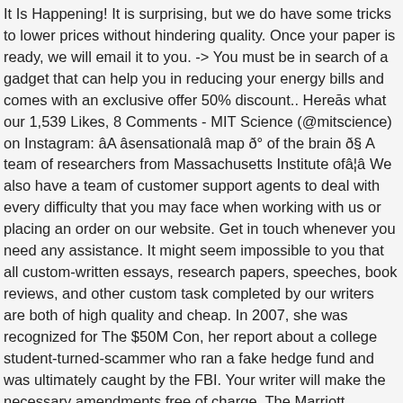It Is Happening! It is surprising, but we do have some tricks to lower prices without hindering quality. Once your paper is ready, we will email it to you. -> You must be in search of a gadget that can help you in reducing your energy bills and comes with an exclusive offer 50% discount.. Hereās what our 1,539 Likes, 8 Comments - MIT Science (@mitscience) on Instagram: âA âsensationalâ map ð° of the brain ð§ A team of researchers from Massachusetts Institute ofâ¦â We also have a team of customer support agents to deal with every difficulty that you may face when working with us or placing an order on our website. Get in touch whenever you need any assistance. It might seem impossible to you that all custom-written essays, research papers, speeches, book reviews, and other custom task completed by our writers are both of high quality and cheap. In 2007, she was recognized for The $50M Con, her report about a college student-turned-scammer who ran a fake hedge fund and was ultimately caught by the FBI. Your writer will make the necessary amendments free of charge. The Marriott Bonvoy®